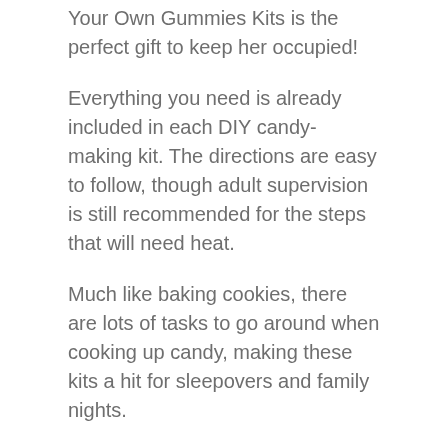Your Own Gummies Kits is the perfect gift to keep her occupied!
Everything you need is already included in each DIY candy-making kit. The directions are easy to follow, though adult supervision is still recommended for the steps that will need heat.
Much like baking cookies, there are lots of tasks to go around when cooking up candy, making these kits a hit for sleepovers and family nights.
Each kit contains information about the origins of the candy, how they were traditionally made, and how the main ingredient works to make the candy the way it is.
The Make Your Own Chocolate Kit even comes with two actual cacao beans that you can taste before you make chocolate! Give your nine year old a practical